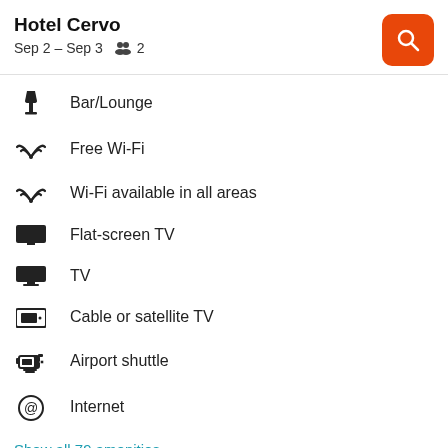Hotel Cervo
Sep 2 – Sep 3   👥 2
Bar/Lounge
Free Wi-Fi
Wi-Fi available in all areas
Flat-screen TV
TV
Cable or satellite TV
Airport shuttle
Internet
Show all 79 amenities